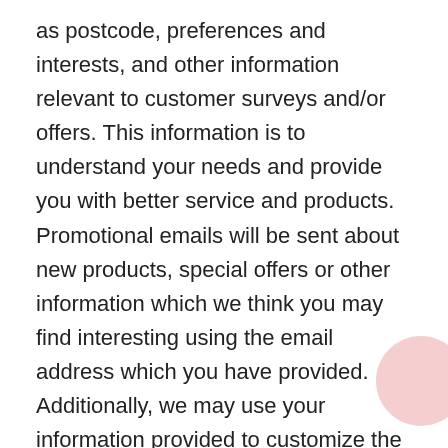as postcode, preferences and interests, and other information relevant to customer surveys and/or offers. This information is to understand your needs and provide you with better service and products. Promotional emails will be sent about new products, special offers or other information which we think you may find interesting using the email address which you have provided. Additionally, we may use your information provided to customize the website according to your interests.
We makes every effort to ensure that your purchase experience at our website is secure. We use the most powerful Secure Socket Layers (SSLs) encryption techniques to protect against loss, misuse or alteration of your user information. It simply adds security to the entire stream of data between the your internet